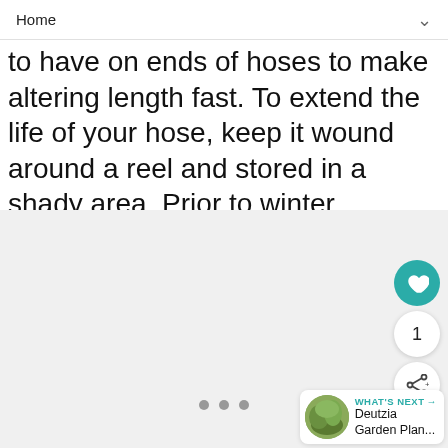Home
to have on ends of hoses to make altering length fast. To extend the life of your hose, keep it wound around a reel and stored in a shady area. Prior to winter freezes, drain hose.
[Figure (photo): Light gray placeholder image area with carousel dots below]
WHAT'S NEXT → Deutzia Garden Plan...